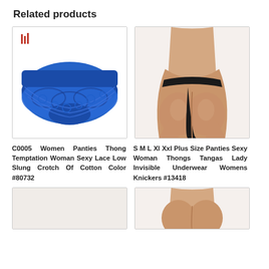Related products
[Figure (photo): Blue lace women's thong panties product photo with small red icon in top left corner]
[Figure (photo): Woman wearing black thong underwear, rear view on white background]
C0005 Women Panties Thong Temptation Woman Sexy Lace Low Slung Crotch Of Cotton Color #80732
S M L Xl Xxl Plus Size Panties Sexy Woman Thongs Tangas Lady Invisible Underwear Womens Knickers #13418
[Figure (photo): Partial product image at bottom left, cropped]
[Figure (photo): Woman wearing beige/nude underwear, rear view, partially cropped at bottom right]